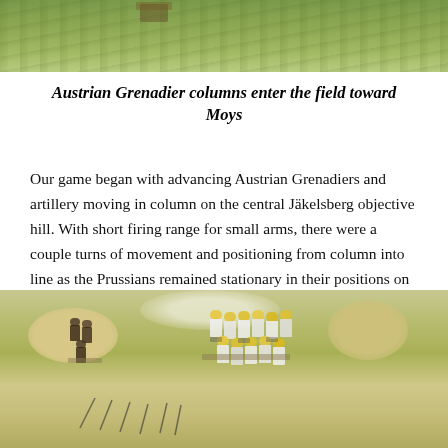[Figure (photo): Top portion of a wargaming table photo showing green grass terrain]
Austrian Grenadier columns enter the field toward Moys
Our game began with advancing Austrian Grenadiers and artillery moving in column on the central Jäkelsberg objective hill. With short firing range for small arms, there were a couple turns of movement and positioning from column into line as the Prussians remained stationary in their positions on the hill.
[Figure (photo): Wargaming table photo showing miniature soldiers (Austrian Grenadier figures) on a terrain board with sand-colored hills and green ground]